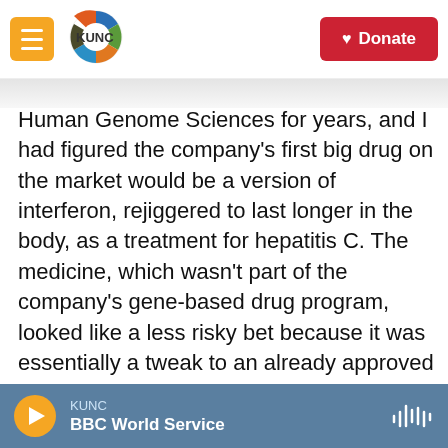[Figure (screenshot): KUNC website top navigation bar with hamburger menu, KUNC logo, and red Donate button]
Human Genome Sciences for years, and I had figured the company's first big drug on the market would be a version of interferon, rejiggered to last longer in the body, as a treatment for hepatitis C. The medicine, which wasn't part of the company's gene-based drug program, looked like a less risky bet because it was essentially a tweak to an already approved drug.
But the FDA rejected the company's application for approval last October, and Human Genome Sciences and Novartis, a partner in the drug's development, decided to drop the project
KUNC | BBC World Service